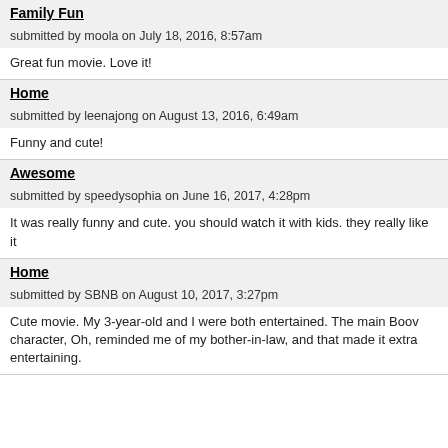Family Fun
submitted by moola on July 18, 2016, 8:57am
Great fun movie. Love it!
Home
submitted by leenajong on August 13, 2016, 6:49am
Funny and cute!
Awesome
submitted by speedysophia on June 16, 2017, 4:28pm
It was really funny and cute. you should watch it with kids. they really like it
Home
submitted by SBNB on August 10, 2017, 3:27pm
Cute movie. My 3-year-old and I were both entertained. The main Boov character, Oh, reminded me of my bother-in-law, and that made it extra entertaining.